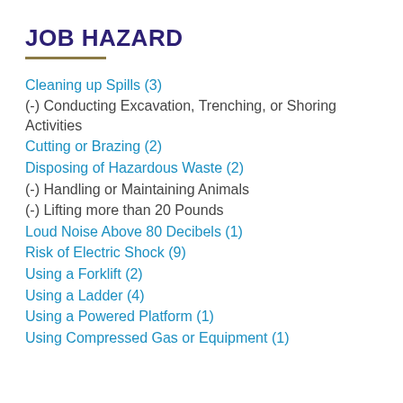JOB HAZARD
Cleaning up Spills (3)
(-) Conducting Excavation, Trenching, or Shoring Activities
Cutting or Brazing (2)
Disposing of Hazardous Waste (2)
(-) Handling or Maintaining Animals
(-) Lifting more than 20 Pounds
Loud Noise Above 80 Decibels (1)
Risk of Electric Shock (9)
Using a Forklift (2)
Using a Ladder (4)
Using a Powered Platform (1)
Using Compressed Gas or Equipment (1)